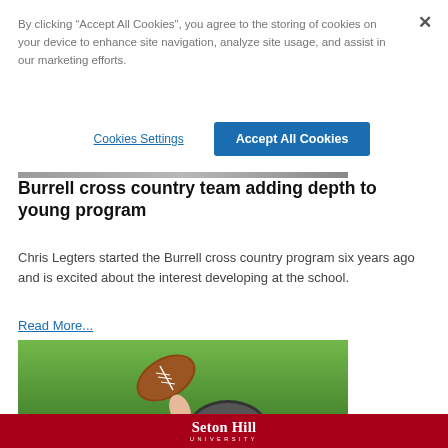By clicking “Accept All Cookies”, you agree to the storing of cookies on your device to enhance site navigation, analyze site usage, and assist in our marketing efforts.
Cookies Settings
Accept All Cookies
[Figure (photo): Partial view of a person, cropped at top of page]
Burrell cross country team adding depth to young program
Chris Legters started the Burrell cross country program six years ago and is excited about the interest developing at the school.
Read More...
[Figure (photo): A football being held up on a green grass field, with a helmet visible]
Seton Hill UNIVERSITY